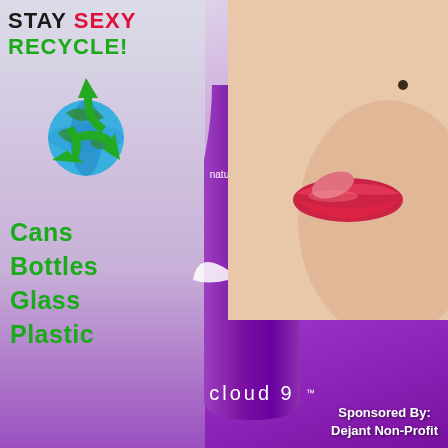STAY SEXY RECYCLE!
[Figure (illustration): Green recycling symbol with Earth globe globe in center]
Cans
Bottles
Glass
Plastic
[Figure (photo): Purple Cloud 9 energy drink bottle with natural aphrodisiac label, 5 calories, 0g Sugar, Cloud 9 logo with snake and wings]
[Figure (photo): Close-up of woman's lips and tongue touching bottle cap]
Sponsored By: Dejant Non-Profit